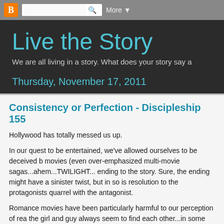Blogger navbar with logo, search box, More
Live the Story
We are all living in a story. What does your story say a
Thursday, November 17, 2011
Consistency or Perfection - Discipleship 155
Hollywood has totally messed us up.
In our quest to be entertained, we've allowed ourselves to be deceived b movies (even over-emphasized multi-movie sagas...ahem...TWILIGHT... ending to the story. Sure, the ending might have a sinister twist, but in so is resolution to the protagonists quarrel with the antagonist.
Romance movies have been particularly harmful to our perception of rea the girl and guy always seem to find each other...in some sort of perfect, unrealistic, fashion.